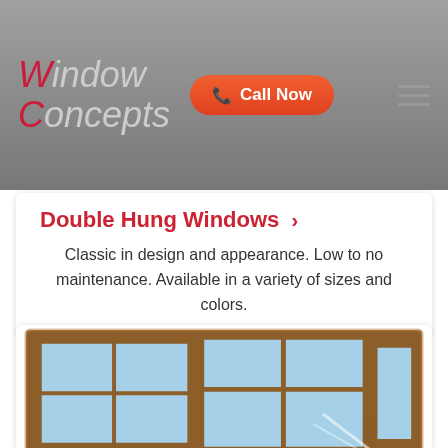Window Concepts — Call Now
Double Hung Windows ›
Classic in design and appearance. Low to no maintenance. Available in a variety of sizes and colors.
[Figure (illustration): Illustration of double hung windows — a wooden-framed triple window unit with blue glass panes and brown frame, showing casement-style open panels.]